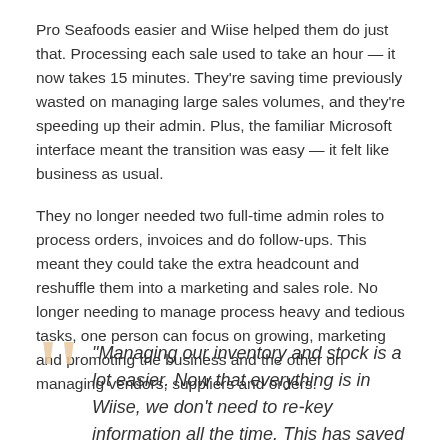Pro Seafoods easier and Wiise helped them do just that. Processing each sale used to take an hour — it now takes 15 minutes. They're saving time previously wasted on managing large sales volumes, and they're speeding up their admin. Plus, the familiar Microsoft interface meant the transition was easy — it felt like business as usual.
They no longer needed two full-time admin roles to process orders, invoices and do follow-ups. This meant they could take the extra headcount and reshuffle them into a marketing and sales role. No longer needing to manage process heavy and tedious tasks, one person can focus on growing, marketing and promoting the business and the other on managing vendors, suppliers and orders.
“Managing our inventory and stock is a lot easier. Now that everything is in Wiise, we don’t need to re-key information all the time. This has saved